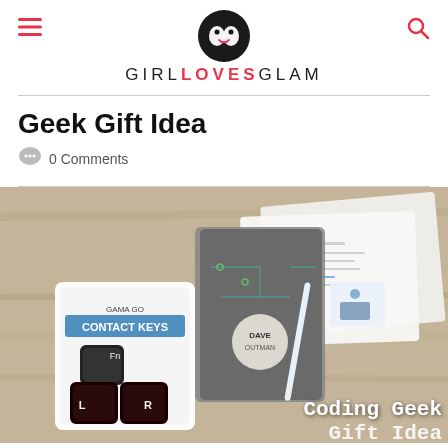GIRL LOVES GLAM
Geek Gift Idea
0 Comments
[Figure (photo): A flat-lay photo on a wooden table showing keyboard key contact lens cases labeled 'CONTACT KEYS' by GAMA GO, a circuit board themed spiral notebook personalized with 'DAVE OUTMAN', a white pen, and printed papers/cards. Text overlay reads 'Coding Geek Gift Idea'.]